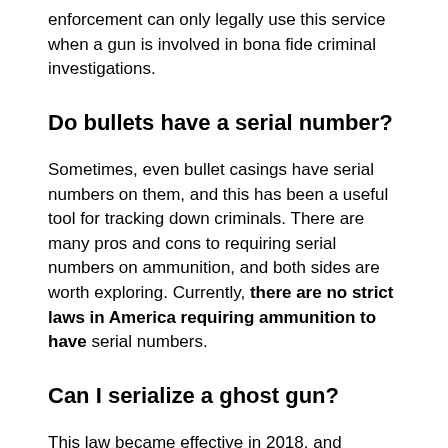enforcement can only legally use this service when a gun is involved in bona fide criminal investigations.
Do bullets have a serial number?
Sometimes, even bullet casings have serial numbers on them, and this has been a useful tool for tracking down criminals. There are many pros and cons to requiring serial numbers on ammunition, and both sides are worth exploring. Currently, there are no strict laws in America requiring ammunition to have serial numbers.
Can I serialize a ghost gun?
This law became effective in 2018, and requires that: ... Anyone in possession of an unserialized firearm must apply to the DOJ for a serial number and must serialize the firearm, or must otherwise relinquish the unserialized firearm to law enforcement.